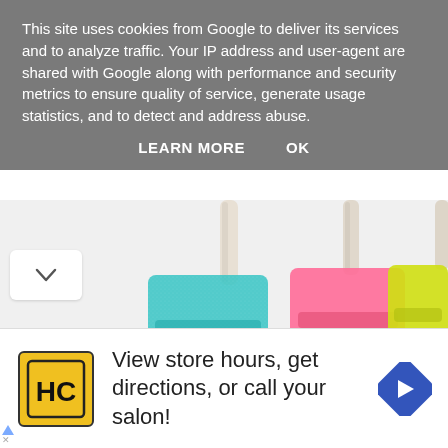This site uses cookies from Google to deliver its services and to analyze traffic. Your IP address and user-agent are shared with Google along with performance and security metrics to ensure quality of service, generate usage statistics, and to detect and address abuse.
LEARN MORE   OK
[Figure (photo): Three glittery popsicle-shaped lip gloss containers with straws. Left one is teal/blue labeled 'Blue Raspberry', middle is pink labeled 'Fruit Punch', right is yellow-green labeled 'Sweet Pineapple'. White background.]
View store hours, get directions, or call your salon!